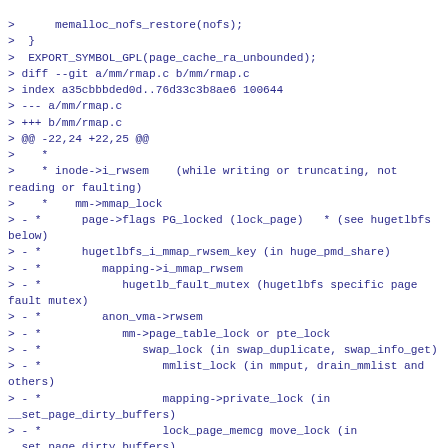>       memalloc_nofs_restore(nofs);
>  }
>  EXPORT_SYMBOL_GPL(page_cache_ra_unbounded);
> diff --git a/mm/rmap.c b/mm/rmap.c
> index a35cbbbded0d..76d33c3b8ae6 100644
> --- a/mm/rmap.c
> +++ b/mm/rmap.c
> @@ -22,24 +22,25 @@
>    *
>    * inode->i_rwsem    (while writing or truncating, not reading or faulting)
>    *    mm->mmap_lock
> - *      page->flags PG_locked (lock_page)   * (see hugetlbfs below)
> - *      hugetlbfs_i_mmap_rwsem_key (in huge_pmd_share)
> - *         mapping->i_mmap_rwsem
> - *            hugetlb_fault_mutex (hugetlbfs specific page fault mutex)
> - *         anon_vma->rwsem
> - *            mm->page_table_lock or pte_lock
> - *               swap_lock (in swap_duplicate, swap_info_get)
> - *                  mmlist_lock (in mmput, drain_mmlist and others)
> - *                  mapping->private_lock (in __set_page_dirty_buffers)
> - *                  lock_page_memcg move_lock (in __set_page_dirty_buffers)
> - *                  i_pages lock (widely used)